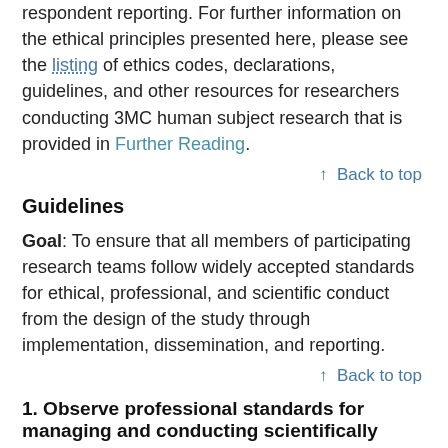interview may conflict with ethical obligations to protect confidentiality and to minimize error in respondent reporting. For further information on the ethical principles presented here, please see the listing of ethics codes, declarations, guidelines, and other resources for researchers conducting 3MC human subject research that is provided in Further Reading.
↑ Back to top
Guidelines
Goal: To ensure that all members of participating research teams follow widely accepted standards for ethical, professional, and scientific conduct from the design of the study through implementation, dissemination, and reporting.
↑ Back to top
1. Observe professional standards for managing and conducting scientifically